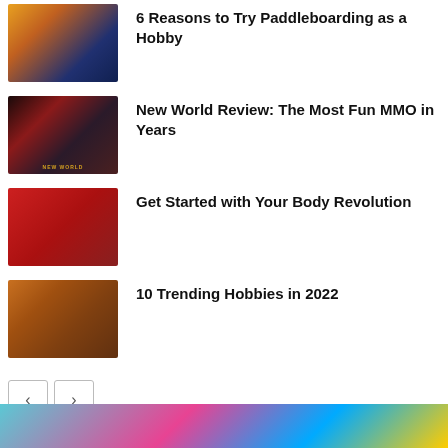[Figure (photo): Woman paddleboarding at sunset]
6 Reasons to Try Paddleboarding as a Hobby
[Figure (photo): New World video game cover art with dark fantasy character]
New World Review: The Most Fun MMO in Years
[Figure (photo): Person in red outfit with fitness accessories]
Get Started with Your Body Revolution
[Figure (photo): Hobbies themed items on a table with coffee]
10 Trending Hobbies in 2022
[Figure (photo): Colorful bottom banner image with bright colors]